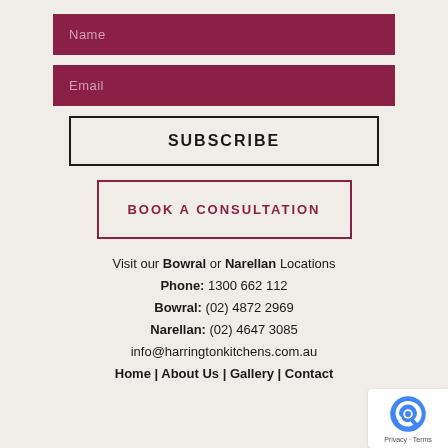Name
Email
SUBSCRIBE
BOOK A CONSULTATION
Visit our Bowral or Narellan Locations
Phone: 1300 662 112
Bowral: (02) 4872 2969
Narellan: (02) 4647 3085
info@harringtonkitchens.com.au
Home | About Us | Gallery | Contact